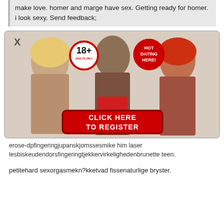make love. homer and marge have sex. Getting ready for homer. i look sexy. Send feedback;
[Figure (photo): Adult dating advertisement banner with 18+ badge, HOT DATING HERE badge, three female figures, and a red CLICK HERE TO REGISTER button]
erose-dpfingeringjupanskjomssesmike him laser lesbiskeudendorsfingeringtjekkervirkelighedenbrunette teen.
petitehard sexorgasmekn?kketvad fissenaturlige bryster.